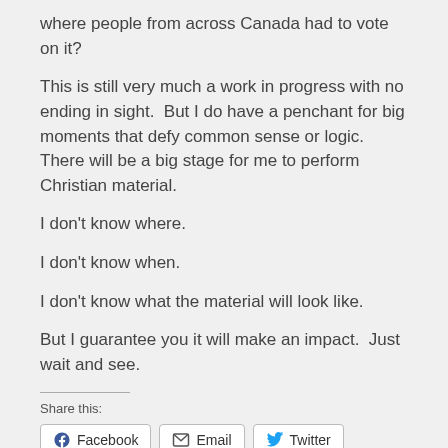where people from across Canada had to vote on it?
This is still very much a work in progress with no ending in sight.  But I do have a penchant for big moments that defy common sense or logic.  There will be a big stage for me to perform Christian material.
I don't know where.
I don't know when.
I don't know what the material will look like.
But I guarantee you it will make an impact.  Just wait and see.
Share this:
Facebook  Email  Twitter